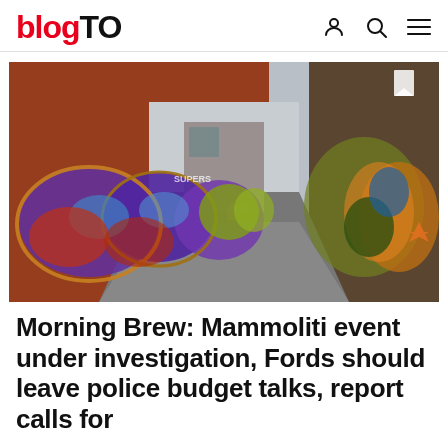blogTO
[Figure (photo): A city alley lined with colorful graffiti murals on brick walls on both sides, perspective leading to a yellow taxi cab in the distance under an overcast sky.]
Morning Brew: Mammoliti event under investigation, Fords should leave police budget talks, report calls for